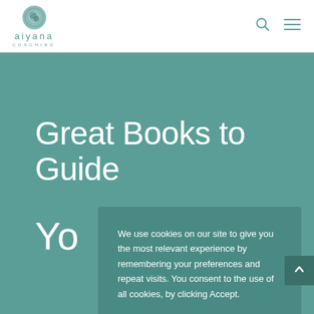[Figure (logo): Aiyana Coaching logo: circular emblem with stylized design above text 'aiyana' in teal lowercase letters with 'COACHING' in small caps below]
Great Books to Guide Yo
We use cookies on our site to give you the most relevant experience by remembering your preferences and repeat visits. You consent to the use of all cookies, by clicking Accept.
Cookie Settings     Accept